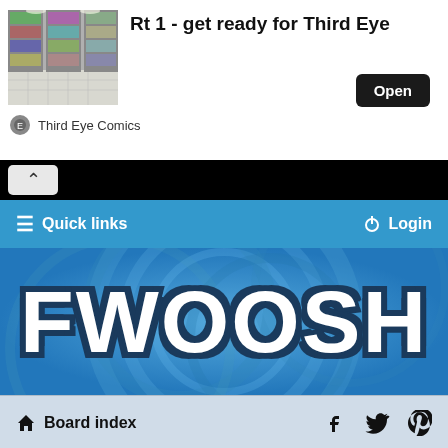[Figure (screenshot): Ad banner showing Third Eye Comics store interior photo with text 'Rt 1 - get ready for Third Eye' and an Open button]
Third Eye Comics
[Figure (screenshot): Collapse/minimize button bar with upward chevron on black background]
[Figure (screenshot): FWOOSH forum website screenshot showing blue navigation bar with Quick links and Login, FWOOSH logo on blue swirl background, and Board index bar with social media icons]